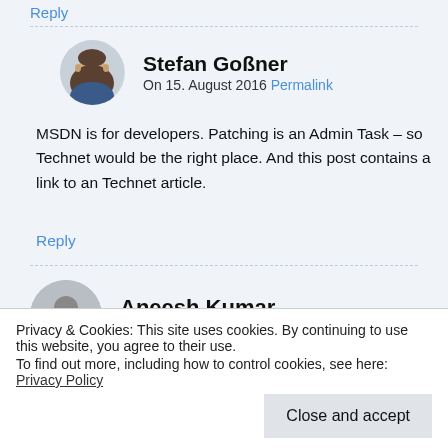Reply
Stefan Goßner
On 15. August 2016 Permalink
MSDN is for developers. Patching is an Admin Task – so Technet would be the right place. And this post contains a link to an Technet article.
Reply
Aneesh Kumar
On 19. May 2017 Permalink
The article 'Video demo of Zero Downtime Patching in
Privacy & Cookies: This site uses cookies. By continuing to use this website, you agree to their use.
To find out more, including how to control cookies, see here: Privacy Policy
Close and accept
Aneesh Kumar